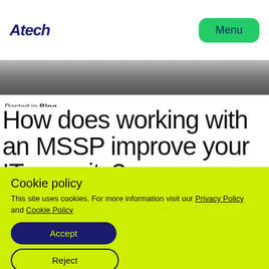Atech | Menu
[Figure (photo): Dark hero image at top of article page]
Posted in Blog
How does working with an MSSP improve your IT security?
Posted on April 5, 2022July 22, 2022 by Agata Gurkovska
[Figure (photo): Dark hero image bottom section]
Cookie policy
This site uses cookies. For more information visit our Privacy Policy and Cookie Policy
Accept
Reject